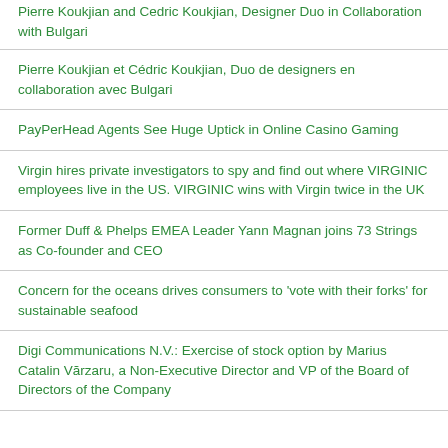Pierre Koukjian and Cedric Koukjian, Designer Duo in Collaboration with Bulgari
Pierre Koukjian et Cédric Koukjian, Duo de designers en collaboration avec Bulgari
PayPerHead Agents See Huge Uptick in Online Casino Gaming
Virgin hires private investigators to spy and find out where VIRGINIC employees live in the US. VIRGINIC wins with Virgin twice in the UK
Former Duff & Phelps EMEA Leader Yann Magnan joins 73 Strings as Co-founder and CEO
Concern for the oceans drives consumers to 'vote with their forks' for sustainable seafood
Digi Communications N.V.: Exercise of stock option by Marius Catalin Vărzaru, a Non-Executive Director and VP of the Board of Directors of the Company